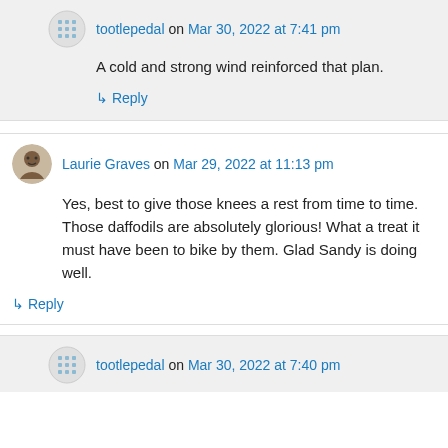tootlepedal on Mar 30, 2022 at 7:41 pm
A cold and strong wind reinforced that plan.
↳ Reply
Laurie Graves on Mar 29, 2022 at 11:13 pm
Yes, best to give those knees a rest from time to time. Those daffodils are absolutely glorious! What a treat it must have been to bike by them. Glad Sandy is doing well.
↳ Reply
tootlepedal on Mar 30, 2022 at 7:40 pm